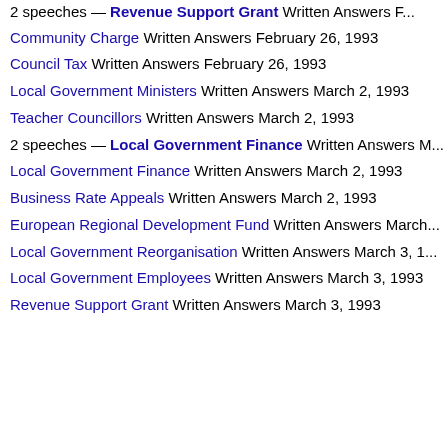2 speeches — Revenue Support Grant Written Answers F...
Community Charge Written Answers February 26, 1993
Council Tax Written Answers February 26, 1993
Local Government Ministers Written Answers March 2, 1993
Teacher Councillors Written Answers March 2, 1993
2 speeches — Local Government Finance Written Answers M...
Local Government Finance Written Answers March 2, 1993
Business Rate Appeals Written Answers March 2, 1993
European Regional Development Fund Written Answers March...
Local Government Reorganisation Written Answers March 3, 1...
Local Government Employees Written Answers March 3, 1993
Revenue Support Grant Written Answers March 3, 1993